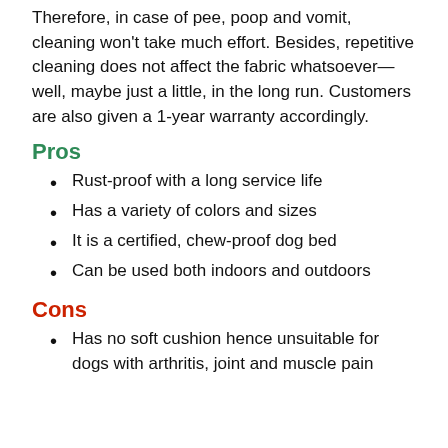Therefore, in case of pee, poop and vomit, cleaning won't take much effort. Besides, repetitive cleaning does not affect the fabric whatsoever—well, maybe just a little, in the long run. Customers are also given a 1-year warranty accordingly.
Pros
Rust-proof with a long service life
Has a variety of colors and sizes
It is a certified, chew-proof dog bed
Can be used both indoors and outdoors
Cons
Has no soft cushion hence unsuitable for dogs with arthritis, joint and muscle pain